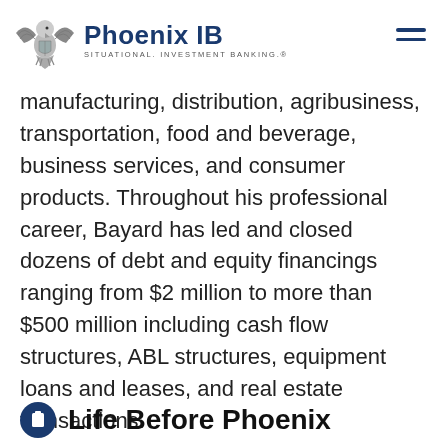Phoenix IB — Situational. Investment Banking.
manufacturing, distribution, agribusiness, transportation, food and beverage, business services, and consumer products. Throughout his professional career, Bayard has led and closed dozens of debt and equity financings ranging from $2 million to more than $500 million including cash flow structures, ABL structures, equipment loans and leases, and real estate transactions.
Life Before Phoenix